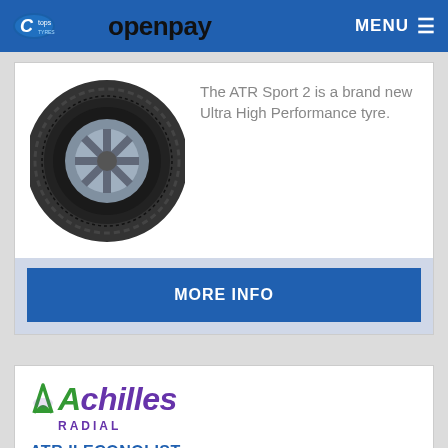Tops Tyres openpay — MENU
[Figure (photo): Performance tyre (Achilles ATR Sport 2) shown at an angle on a silver alloy wheel]
The ATR Sport 2 is a brand new Ultra High Performance tyre.
MORE INFO
[Figure (logo): Achilles Radial logo in purple and green italic text]
ATR II ECONOLIST